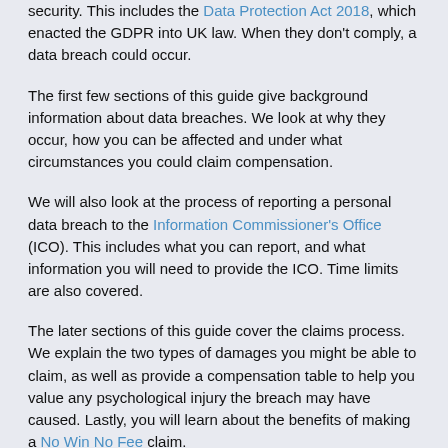security. This includes the Data Protection Act 2018, which enacted the GDPR into UK law. When they don't comply, a data breach could occur.
The first few sections of this guide give background information about data breaches. We look at why they occur, how you can be affected and under what circumstances you could claim compensation.
We will also look at the process of reporting a personal data breach to the Information Commissioner's Office (ICO). This includes what you can report, and what information you will need to provide the ICO. Time limits are also covered.
The later sections of this guide cover the claims process. We explain the two types of damages you might be able to claim, as well as provide a compensation table to help you value any psychological injury the breach may have caused. Lastly, you will learn about the benefits of making a No Win No Fee claim.
Do You Need More Help?
We understand that this guide might not have the answers to all of